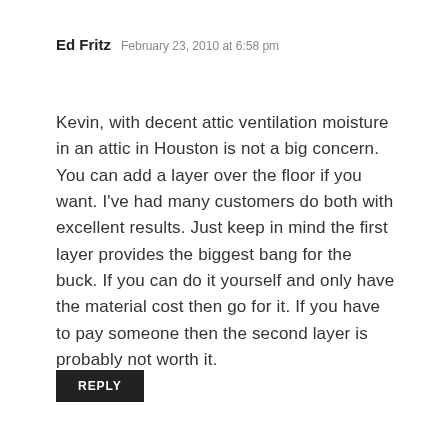Ed Fritz  February 23, 2010 at 6:58 pm
Kevin, with decent attic ventilation moisture in an attic in Houston is not a big concern. You can add a layer over the floor if you want. I've had many customers do both with excellent results. Just keep in mind the first layer provides the biggest bang for the buck. If you can do it yourself and only have the material cost then go for it. If you have to pay someone then the second layer is probably not worth it.
REPLY